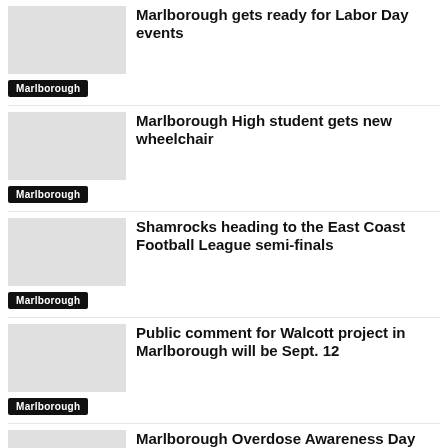Marlborough gets ready for Labor Day events
Marlborough
Marlborough High student gets new wheelchair
Marlborough
Shamrocks heading to the East Coast Football League semi-finals
Marlborough
Public comment for Walcott project in Marlborough will be Sept. 12
Marlborough
Marlborough Overdose Awareness Day vigil will feature former Patriot
Marlborough